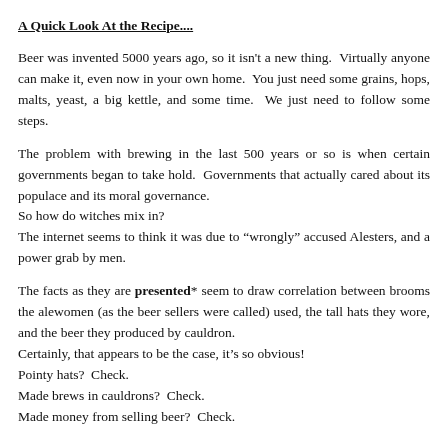A Quick Look At the Recipe....
Beer was invented 5000 years ago, so it isn't a new thing. Virtually anyone can make it, even now in your own home. You just need some grains, hops, malts, yeast, a big kettle, and some time. We just need to follow some steps.
The problem with brewing in the last 500 years or so is when certain governments began to take hold. Governments that actually cared about its populace and its moral governance.
So how do witches mix in?
The internet seems to think it was due to “wrongly” accused Alesters, and a power grab by men.
The facts as they are presented* seem to draw correlation between brooms the alewomen (as the beer sellers were called) used, the tall hats they wore, and the beer they produced by cauldron.
Certainly, that appears to be the case, it’s so obvious!
Pointy hats? Check.
Made brews in cauldrons? Check.
Made money from selling beer? Check.